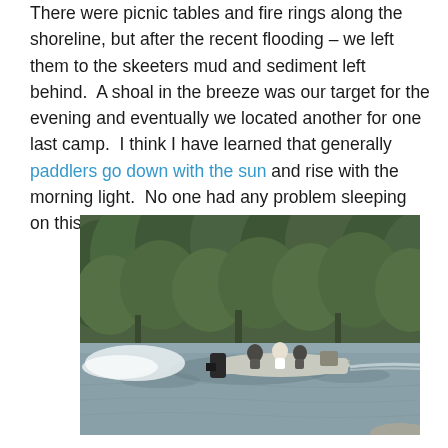There were picnic tables and fire rings along the shoreline, but after the recent flooding – we left them to the skeeters mud and sediment left behind.  A shoal in the breeze was our target for the evening and eventually we located another for one last camp.  I think I have learned that generally paddlers go down with the sun and rise with the morning light.  No one had any problem sleeping on this river.
[Figure (photo): A motorboat with several passengers traveling on a calm river, with dense green forest lining the opposite bank in the background.]